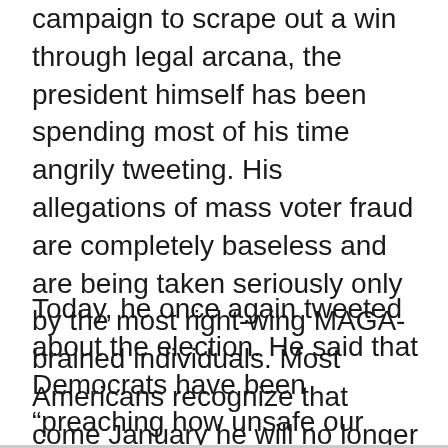campaign to scrape out a win through legal arcana, the president himself has been spending most of his time angrily tweeting. His allegations of mass voter fraud are completely baseless and are being taken seriously only by the most right-wing MAGA-brained individuals. Most Americans recognize that come January he will no longer be president and he simply cannot accept that ironclad reality.
Today, he once again tweeted about the election. He said that Democrats have been “preaching how unsafe our elections” are for years but are now saying that the Trump administration did a “wonderful job” running the “most secure election ever.”